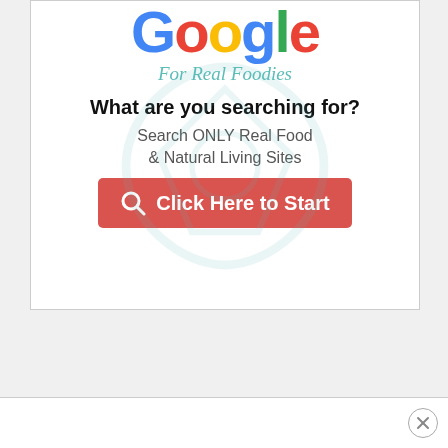[Figure (logo): Google logo in multicolor letters (blue, red, yellow, green, blue, green) with 'For Real Foodies' italic teal tagline below, and a light teal watermark emblem in background. Below: bold headline 'What are you searching for?', subtext 'Search ONLY Real Food & Natural Living Sites', and a red call-to-action button with search icon and text 'Click Here to Start'.]
What are you searching for?
Search ONLY Real Food & Natural Living Sites
Click Here to Start